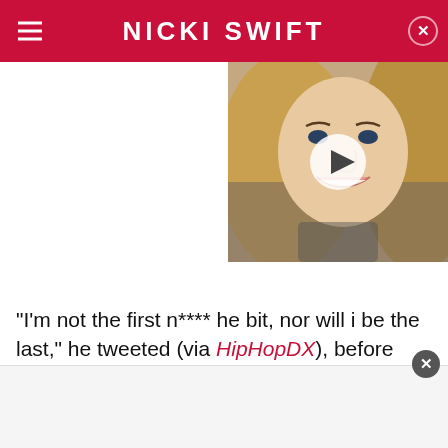NICKI SWIFT
[Figure (photo): Video thumbnail showing a blonde woman smiling, with a play button overlay]
"I'm not the first n**** he bit, nor will i be the last," he tweeted (via HipHopDX), before adding, "I'm not gonna
[Figure (other): Bottom advertisement bar with close button]